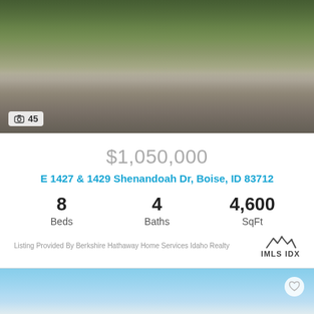[Figure (photo): Exterior photo of a large two-story duplex home with three-car garage, surrounded by trees, photo counter showing 45 images]
📷 45
$1,050,000
E 1427 & 1429 Shenandoah Dr, Boise, ID 83712
8 Beds  4 Baths  4,600 SqFt
Listing Provided By Berkshire Hathaway Home Services Idaho Realty
[Figure (logo): IMLS IDX logo with mountain peaks]
[Figure (photo): Exterior photo of a modern single-story home with dark gray garage door, white stucco exterior, and landscaped front yard]